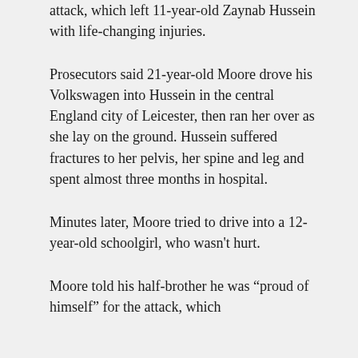attack, which left 11-year-old Zaynab Hussein with life-changing injuries.
Prosecutors said 21-year-old Moore drove his Volkswagen into Hussein in the central England city of Leicester, then ran her over as she lay on the ground. Hussein suffered fractures to her pelvis, her spine and leg and spent almost three months in hospital.
Minutes later, Moore tried to drive into a 12-year-old schoolgirl, who wasn't hurt.
Moore told his half-brother he was “proud of himself” for the attack, which